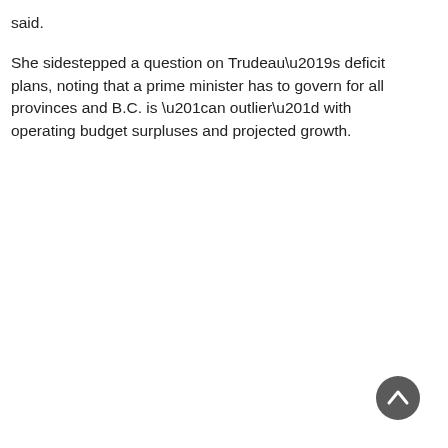said.
She sidestepped a question on Trudeau’s deficit plans, noting that a prime minister has to govern for all provinces and B.C. is “an outlier” with operating budget surpluses and projected growth.
[Figure (other): Scroll-to-top button: dark grey circle with white upward chevron arrow]